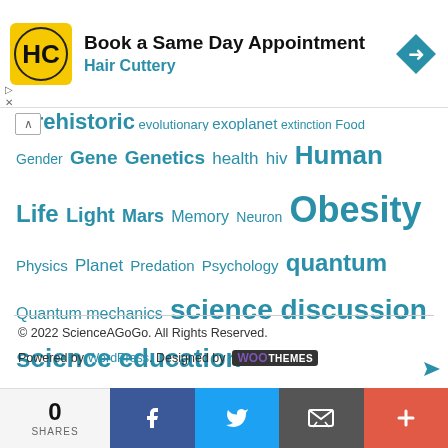[Figure (infographic): Hair Cuttery advertisement banner: yellow square logo with HC initials, text 'Book a Same Day Appointment / Hair Cuttery', blue navigation arrow icon on right]
↑ Prehistoric evolutionary exoplanet extinction Food Gender Gene Genetics health hiv Human Life Light Mars Memory Neuron Obesity Physics Planet Predation Psychology quantum Quantum mechanics science discussion science education science news sexual solar sperm Star system Testosterone Water
© 2022 ScienceAGoGo. All Rights Reserved.
Powered by WordPress. Designed by WooThemes
[Figure (infographic): Social share bar at bottom: 0 SHARES count, Facebook button, Twitter button, Email button, More (+) button]